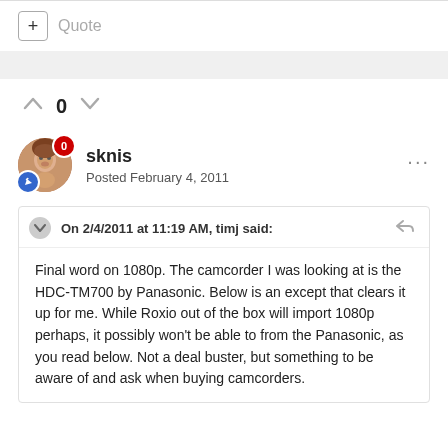+ Quote
0
sknis
Posted February 4, 2011
On 2/4/2011 at 11:19 AM, timj said:
Final word on 1080p. The camcorder I was looking at is the HDC-TM700 by Panasonic. Below is an except that clears it up for me. While Roxio out of the box will import 1080p perhaps, it possibly won't be able to from the Panasonic, as you read below. Not a deal buster, but something to be aware of and ask when buying camcorders.